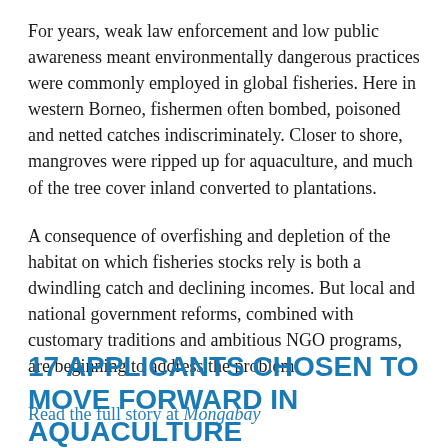For years, weak law enforcement and low public awareness meant environmentally dangerous practices were commonly employed in global fisheries. Here in western Borneo, fishermen often bombed, poisoned and netted catches indiscriminately. Closer to shore, mangroves were ripped up for aquaculture, and much of the tree cover inland converted to plantations.
A consequence of overfishing and depletion of the habitat on which fisheries stocks rely is both a dwindling catch and declining incomes. But local and national government reforms, combined with customary traditions and ambitious NGO programs, are beginning to address the problem.
Read the full story at Mongabay
17 APPLICANTS CHOSEN TO MOVE FORWARD IN AQUACULTURE